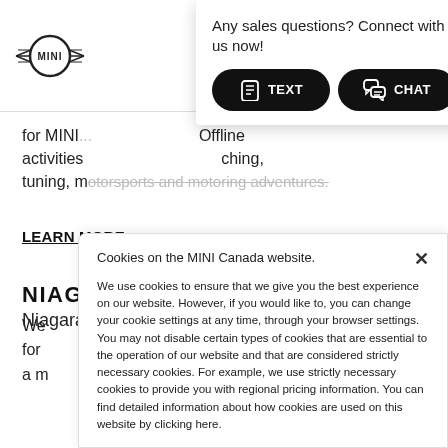[Figure (logo): MINI logo with wings]
[Figure (infographic): Sales chat popup with TEXT and CHAT buttons. Header: 'Any sales questions? Connect with us now!']
for MINI... Offline activities ...ching, tuning, motorsports and motoring adventures.
LEARN MORE >
NIAGARA MINI CLUB
Niagara Falls, Ontario
Cookies on the MINI Canada website.
We use cookies to ensure that we give you the best experience on our website. However, if you would like to, you can change your cookie settings at any time, through your browser settings. You may not disable certain types of cookies that are essential to the operation of our website and that are considered strictly necessary cookies. For example, we use strictly necessary cookies to provide you with regional pricing information. You can find detailed information about how cookies are used on this website by clicking here.
We for a m